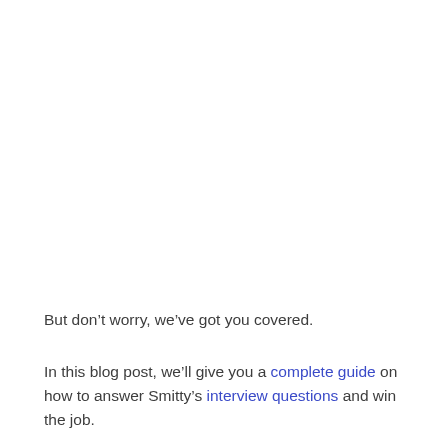But don’t worry, we’ve got you covered.
In this blog post, we’ll give you a complete guide on how to answer Smitty’s interview questions and win the job.